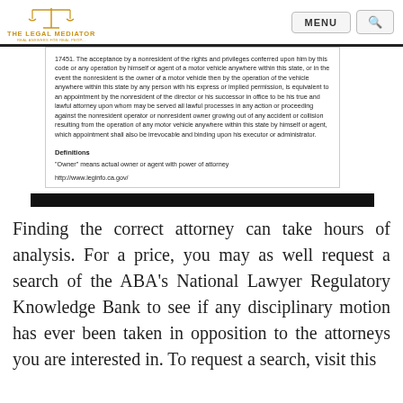THE LEGAL MEDIATOR | MENU | Search
17451. The acceptance by a nonresident of the rights and privileges conferred upon him by this code or any operation by himself or agent of a motor vehicle anywhere within this state, or in the event the nonresident is the owner of a motor vehicle then by the operation of the vehicle anywhere within this state by any person with his express or implied permission, is equivalent to an appointment by the nonresident of the director or his successor in office to be his true and lawful attorney upon whom may be served all lawful processes in any action or proceeding against the nonresident operator or nonresident owner growing out of any accident or collision resulting from the operation of any motor vehicle anywhere within this state by himself or agent, which appointment shall also be irrevocable and binding upon his executor or administrator.
Definitions
"Owner" means actual owner or agent with power of attorney
http://www.leginfo.ca.gov/
[Figure (other): Black horizontal bar divider]
Finding the correct attorney can take hours of analysis. For a price, you may as well request a search of the ABA’s National Lawyer Regulatory Knowledge Bank to see if any disciplinary motion has ever been taken in opposition to the attorneys you are interested in. To request a search, visit this